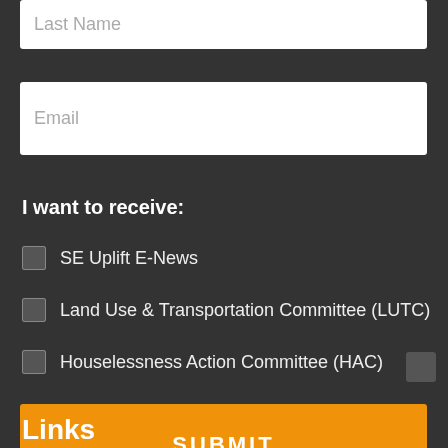Last Name
Email
I want to receive:
SE Uplift E-News
Land Use & Transportation Committee (LUTC)
Houselessness Action Committee (HAC)
SUBMIT
Links